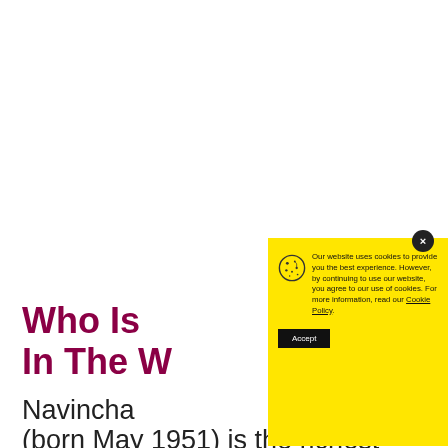Who Is ... In The W...
Navincha...
(born May 1951) is the richest
[Figure (screenshot): Cookie consent modal with yellow background. Contains a cookie icon, text reading 'Our website uses cookies to provide you the best experience. However, by continuing to use our website, you agree to our use of cookies. For more information, read our Cookie Policy.' with a link on 'Cookie Policy', and an Accept button. A dark circular close button with an X is shown in the top-right corner of the modal.]